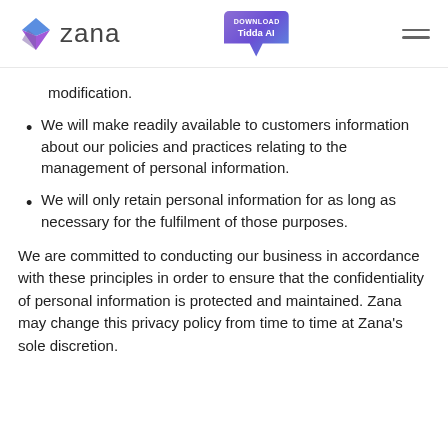Zana — DOWNLOAD Tidda AI (navigation header)
modification.
We will make readily available to customers information about our policies and practices relating to the management of personal information.
We will only retain personal information for as long as necessary for the fulfilment of those purposes.
We are committed to conducting our business in accordance with these principles in order to ensure that the confidentiality of personal information is protected and maintained. Zana may change this privacy policy from time to time at Zana's sole discretion.